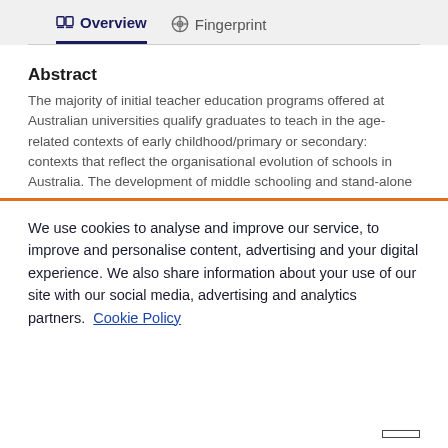Overview   Fingerprint
Abstract
The majority of initial teacher education programs offered at Australian universities qualify graduates to teach in the age-related contexts of early childhood/primary or secondary: contexts that reflect the organisational evolution of schools in Australia. The development of middle schooling and stand-alone
We use cookies to analyse and improve our service, to improve and personalise content, advertising and your digital experience. We also share information about your use of our site with our social media, advertising and analytics partners.  Cookie Policy